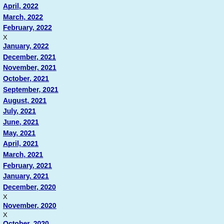April, 2022
March, 2022
February, 2022 X
January, 2022
December, 2021
November, 2021
October, 2021
September, 2021
August, 2021
July, 2021
June, 2021
May, 2021
April, 2021
March, 2021
February, 2021
January, 2021
December, 2020 X
November, 2020 X
October, 2020 X
September, 2020
August, 2020
July, 2020
Yankee Stadium(s) photos
John Crozier and Brian Vangor both sent me more photos on that page, and Brian sent me a photo of old Yankee Stadium. (It's intended to keep the dust from scattering around as I add more Yankee Stadium and Yankee Stadium II pages, I redid s
COMING SOON: Even more new ballpark photos, from
NOTE: I got another warning about excessive bandwidth increased number of large, high-quality stadium photos. have not previously contributed a few of your hard-earned own, please consider donating a few dollars or sponsor
September 9, 2009 [LINK / comment]
Van Jones: isolated incident?
After a firestorm of criticism from conservatives, Van Jones resigned over the weekend. Jones issued two public apologies in recent months, one for charging that the Bush administration had deliberately allowed 9/11, and also made a speech insinuating that only white boys would shoot up schools, year referred to Republicans in a profane way. Clearly, he was unfit for a high government position. See the Washington Post [u... petition he signed.
The question is, are there more like Van Jones? Here's c advocated compulsory sterilization and forced abortion. that Obama cut Van Jones loose so quickly and surreptitiously before the nomination. The end is not yet in sight.